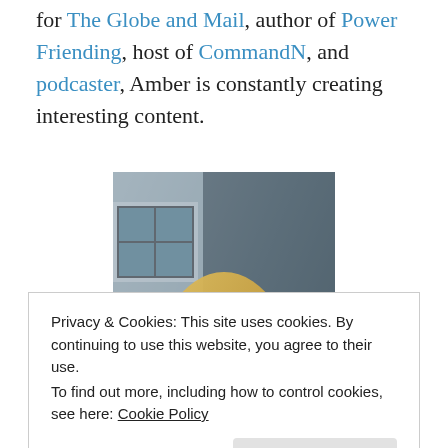for The Globe and Mail, author of Power Friending, host of CommandN, and podcaster, Amber is constantly creating interesting content.
[Figure (photo): Portrait photo of a smiling blonde woman wearing a black turtleneck, photographed outdoors near a building with windows]
Privacy & Cookies: This site uses cookies. By continuing to use this website, you agree to their use. To find out more, including how to control cookies, see here: Cookie Policy
have always found her to be charming and funny, and I